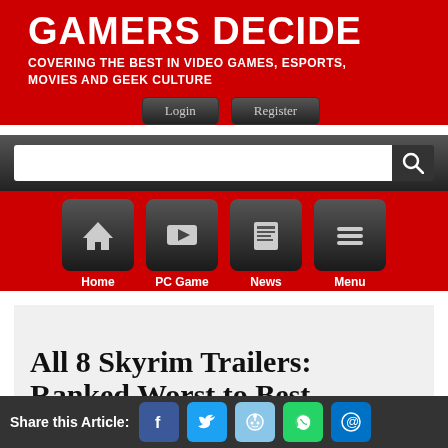GAMERS DECIDE
COVERING THE BEST IN VIDEO GAMES, ESPORTS, MOVIES AND GEEK CULTURE
[Figure (screenshot): Login and Register buttons in dark rounded rectangle style]
[Figure (screenshot): Search bar with white input field and dark search icon button]
[Figure (screenshot): Navigation bar with icons: Home (house), PC Game (camera), News (newspaper), Menu (hamburger). Dark rounded square boxes on red background.]
All 8 Skyrim Trailers: Ranked Worst to Best
[Figure (screenshot): Share bar with social media icons: Facebook, Twitter, Reddit, WhatsApp, Email]